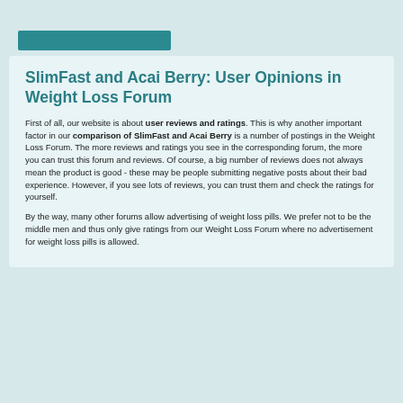[Figure (other): Teal/green button or banner element at top of page]
SlimFast and Acai Berry: User Opinions in Weight Loss Forum
First of all, our website is about user reviews and ratings. This is why another important factor in our comparison of SlimFast and Acai Berry is a number of postings in the Weight Loss Forum. The more reviews and ratings you see in the corresponding forum, the more you can trust this forum and reviews. Of course, a big number of reviews does not always mean the product is good - these may be people submitting negative posts about their bad experience. However, if you see lots of reviews, you can trust them and check the ratings for yourself.
By the way, many other forums allow advertising of weight loss pills. We prefer not to be the middle men and thus only give ratings from our Weight Loss Forum where no advertisement for weight loss pills is allowed.